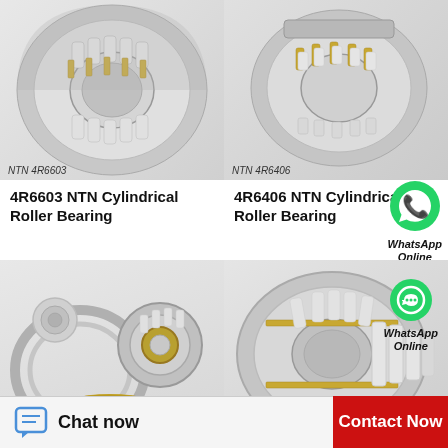[Figure (photo): NTN 4R6603 cylindrical roller bearing, silver/metallic, cut-away view showing roller elements and brass cage]
NTN 4R6603
4R6603 NTN Cylindrical Roller Bearing
[Figure (photo): NTN 4R6406 cylindrical roller bearing, silver/metallic, angled view showing rollers and cage]
NTN 4R6406
4R6406 NTN Cylindrical Roller Bearing
[Figure (photo): WhatsApp logo icon and text 'WhatsApp Online' overlay]
[Figure (photo): Multiple ball bearings and ring components scattered, silver and gold colored]
[Figure (photo): Large cylindrical roller bearing, silver with gold cage, angled view showing roller elements]
Chat now
Contact Now